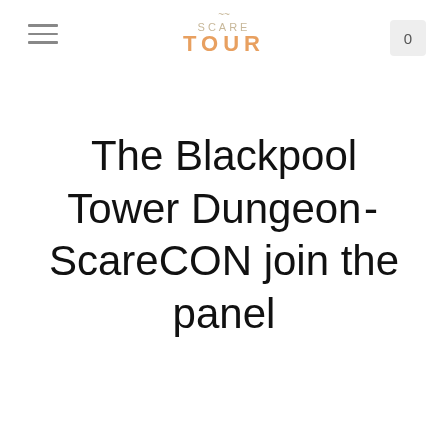SCARE TOUR
The Blackpool Tower Dungeon - ScareCON join the panel